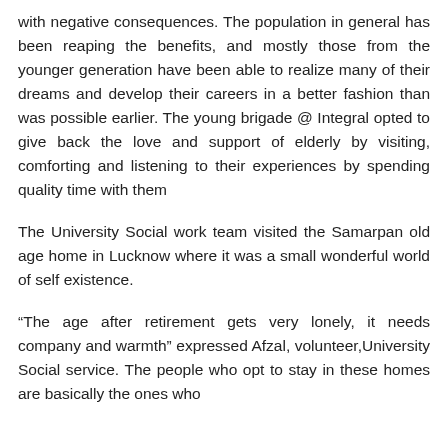with negative consequences. The population in general has been reaping the benefits, and mostly those from the younger generation have been able to realize many of their dreams and develop their careers in a better fashion than was possible earlier. The young brigade @ Integral opted to give back the love and support of elderly by visiting, comforting and listening to their experiences by spending quality time with them
The University Social work team visited the Samarpan old age home in Lucknow where it was a small wonderful world of self existence.
“The age after retirement gets very lonely, it needs company and warmth” expressed Afzal, volunteer,University Social service. The people who opt to stay in these homes are basically the ones who